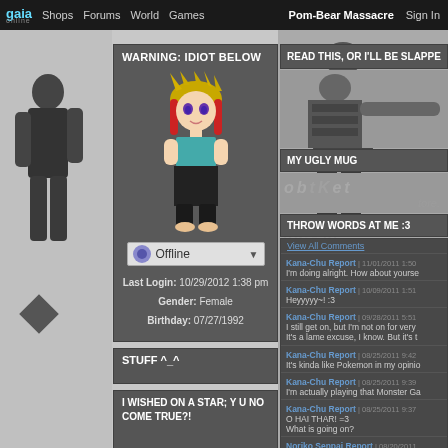gaia | Shops | Forums | World | Games | Pom-Bear Massacre | Sign In
WARNING: IDIOT BELOW
[Figure (illustration): Pixel-art anime avatar with yellow spiky hair and red streaks, wearing teal top and black pants, standing pose]
Offline
Last Login: 10/29/2012 1:38 pm
Gender: Female
Birthday: 07/27/1992
READ THIS, OR I'LL BE SLAPPE
[Figure (photo): Photo of person in black and white striped outfit with arm extended]
MY UGLY MUG
THROW WORDS AT ME :3
View All Comments
Kana-Chu Report | 11/01/2011 1:50
I'm doing alright. How about yourse
Kana-Chu Report | 10/09/2011 1:51
Heyyyyy~! :3
Kana-Chu Report | 09/28/2011 5:51
I still get on, but I'm not on for very
It's a lame excuse, I know. But it's t
Kana-Chu Report | 08/25/2011 9:42
It's kinda like Pokemon in my opinio
Kana-Chu Report | 08/25/2011 9:39
I'm actually playing that Monster Ga
Kana-Chu Report | 08/25/2011 9:37
O HAI THAR! =3
What is going on?
Noriko Senpai Report | 08/20/2011
thanks sorry i dont play much TToT
UsakoBunnyTsukino24601 Report
Well thankz
STUFF ^_^
I WISHED ON A STAR; Y U NO COME TRUE?!